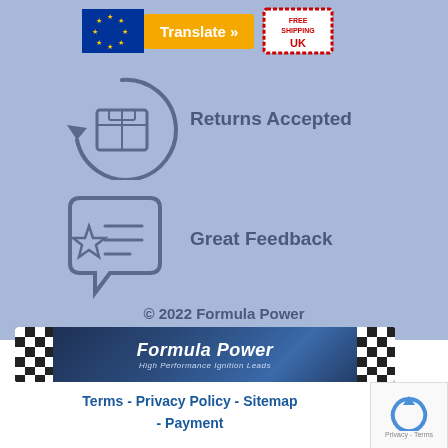[Figure (infographic): EU flag icon (blue rectangle with yellow stars), orange Translate button, and UK Free Shipping stamp badge at top]
[Figure (infographic): Returns Accepted icon: circular arrow around a package box]
Returns Accepted
[Figure (infographic): Great Feedback icon: chat bubble with star]
Great Feedback
© 2022 Formula Power
[Figure (logo): Formula Power logo banner with checkered flags, italic text 'Formula Power' and subtitle 'High Performance Ignition Leads']
Terms  -  Privacy Policy  -  Sitemap  -  Payment